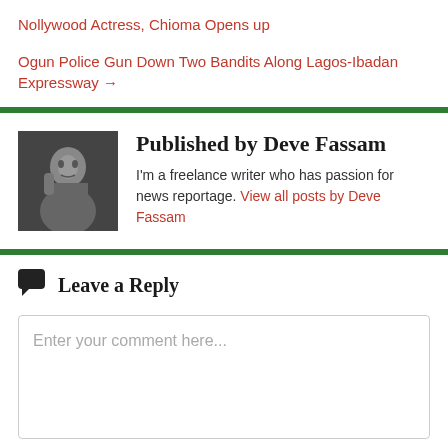Nollywood Actress, Chioma Opens up
Ogun Police Gun Down Two Bandits Along Lagos-Ibadan Expressway →
[Figure (photo): Black and white photo of a person, author Deve Fassam]
Published by Deve Fassam
I'm a freelance writer who has passion for news reportage. View all posts by Deve Fassam
Leave a Reply
Enter your comment here...